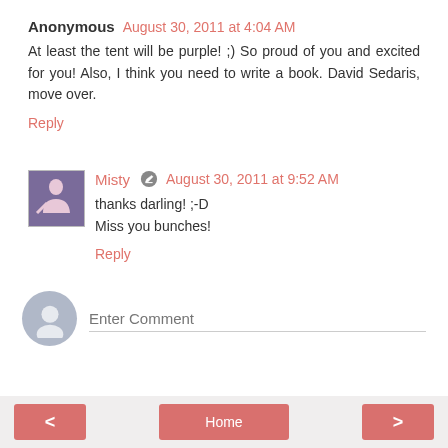Anonymous  August 30, 2011 at 4:04 AM
At least the tent will be purple! ;) So proud of you and excited for you! Also, I think you need to write a book. David Sedaris, move over.
Reply
Misty  August 30, 2011 at 9:52 AM
thanks darling! ;-D
Miss you bunches!
Reply
Enter Comment
< Home >